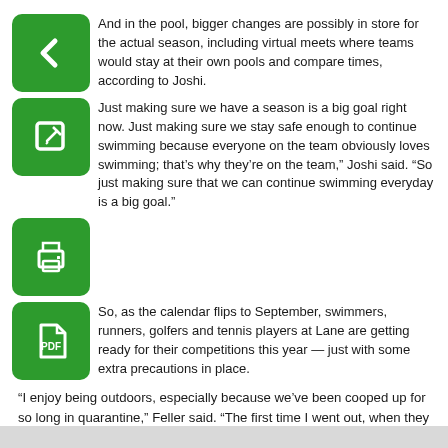And in the pool, bigger changes are possibly in store for the actual season, including virtual meets where teams would stay at their own pools and compare times, according to Joshi.
Just making sure we have a season is a big goal right now. Just making sure we stay safe enough to continue swimming because everyone on the team obviously loves swimming; that’s why they’re on the team,” Joshi said. “So just making sure that we can continue swimming everyday is a big goal.”
So, as the calendar flips to September, swimmers, runners, golfers and tennis players at Lane are getting ready for their competitions this year — just with some extra precautions in place.
“I enjoy being outdoors, especially because we’ve been cooped up for so long in quarantine,” Feller said. “The first time I went out, when they finally opened up golf courses, it felt so good, because you’re like outside for five hours vs when we’ve been inside for like five weeks. It’s refreshing. I think any type of physical activity has been a source of happiness more than anything for most people.”